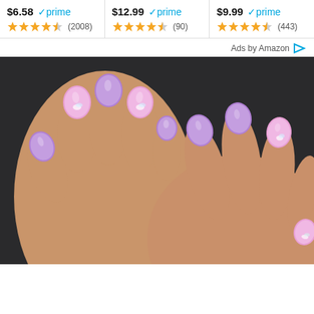$6.58 ✓prime ★★★★☆ (2008) | $12.99 ✓prime ★★★★½ (90) | $9.99 ✓prime ★★★★½ (443)
Ads by Amazon
[Figure (photo): Close-up photo of two hands with manicured nails painted in alternating purple and pink colors. Some nails have iridescent/holographic decorative embellishments. The background is dark.]